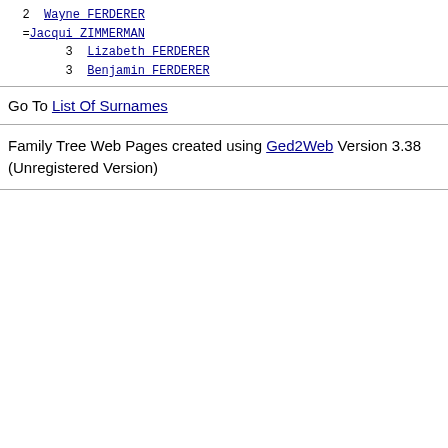2  Wayne FERDERER
=Jacqui ZIMMERMAN
3  Lizabeth FERDERER
3  Benjamin FERDERER
Go To List Of Surnames
Family Tree Web Pages created using Ged2Web Version 3.38 (Unregistered Version)